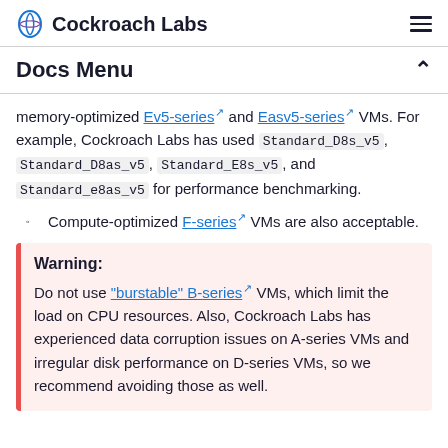Cockroach Labs
Docs Menu
memory-optimized Ev5-series and Easv5-series VMs. For example, Cockroach Labs has used Standard_D8s_v5, Standard_D8as_v5, Standard_E8s_v5, and Standard_e8as_v5 for performance benchmarking.
Compute-optimized F-series VMs are also acceptable.
Warning: Do not use "burstable" B-series VMs, which limit the load on CPU resources. Also, Cockroach Labs has experienced data corruption issues on A-series VMs and irregular disk performance on D-series VMs, so we recommend avoiding those as well.